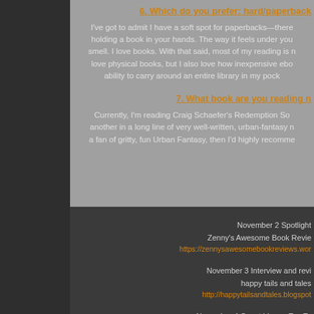6. Which do you prefer: hard/paperback
I've got to admit I have a soft spot for paperbacks—there holding a book in your hands. The way it feels under you smell. I love books. With that said, most of my reading is n love physical books, but I also love how inexpensive ebo ability to carry around an entire library in my pock
7. What book are you reading n
Currently, I'm reading Craig Schaefer's Redemption So another in a long line of very well-written, urban-fantasy n a fan of gritty, fun Urban Fantasy, then I'd highly recomme
November 2 Spotlight
Zenny's Awesome Book Revie
https://zennysawesomebookreviews.wor
November 3 Interview and revi
happy tails and tales
http://happytailsandtales.blogspot
November 4 Guest blog or Top Te
The Sentinel Group – White bl